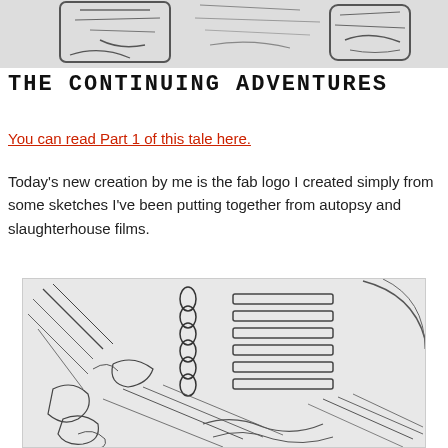[Figure (illustration): Pencil sketch drawing partially visible at the top of the page — appears to show abstract or anatomical shapes in black and white.]
THE CONTINUING ADVENTURES
You can read Part 1 of this tale here.
Today's new creation by me is the fab logo I created simply from some sketches I've been putting together from autopsy and slaughterhouse films.
[Figure (illustration): Detailed pencil sketch drawing showing what appears to be an anatomical or mechanical scene with crosshatching, skeletal or structural elements, and intricate linework in black and white.]